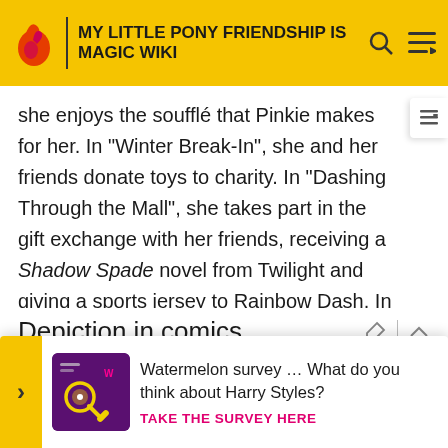MY LITTLE PONY FRIENDSHIP IS MAGIC WIKI
she enjoys the soufflé that Pinkie makes for her. In "Winter Break-In", she and her friends donate toys to charity. In "Dashing Through the Mall", she takes part in the gift exchange with her friends, receiving a Shadow Spade novel from Twilight and giving a sports jersey to Rainbow Dash. In "O Come, All Ye Squashful", Rarity is roped into taking an embarrassing costumed photo with her friends after a misunderstanding with Applejack.
Depiction in comics
Rarity ... er fresh... ool for he... er from...
[Figure (screenshot): Advertisement overlay: Watermelon survey asking about Harry Styles with a Take the Survey Here CTA link, dark purple background image with magnifying glass icon]